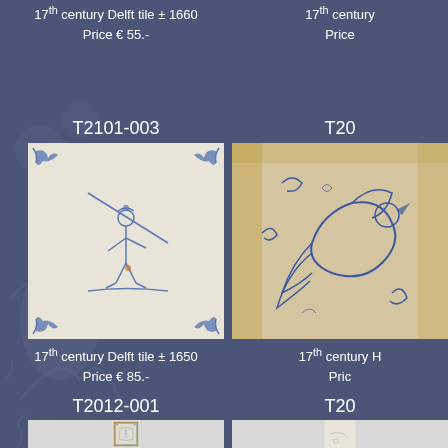17th century Delft tile ± 1660
Price € 55.-
17th century [truncated]
Price [truncated]
T2101-003
[Figure (photo): Delft tile with blue and white painting of a soldier/skater figure with lily corner decorations]
17th century Delft tile ± 1650
Price € 85.-
T20[truncated]
[Figure (photo): Old Dutch tile with blue bird/phoenix design, aged brownish edges]
17th century H[truncated]
Pric[truncated]
T2012-001
[Figure (photo): Framed Delft tile panel with soldier figure in cartouche with blue floral corner motifs]
T20[truncated]
[Figure (photo): Partial view of a Delft tile with blue and white motif, bottom right]